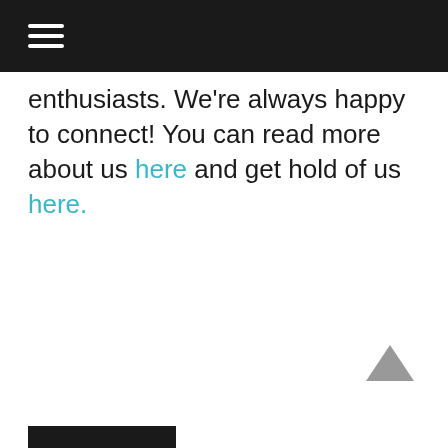Navigation bar with hamburger menu icon
enthusiasts. We're always happy to connect! You can read more about us here and get hold of us here.